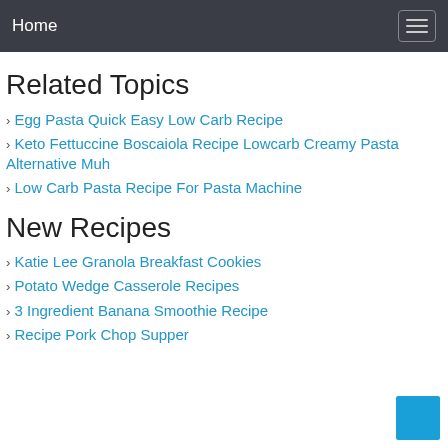Home
Related Topics
Egg Pasta Quick Easy Low Carb Recipe
Keto Fettuccine Boscaiola Recipe Lowcarb Creamy Pasta Alternative Muh
Low Carb Pasta Recipe For Pasta Machine
New Recipes
Katie Lee Granola Breakfast Cookies
Potato Wedge Casserole Recipes
3 Ingredient Banana Smoothie Recipe
Recipe Pork Chop Supper